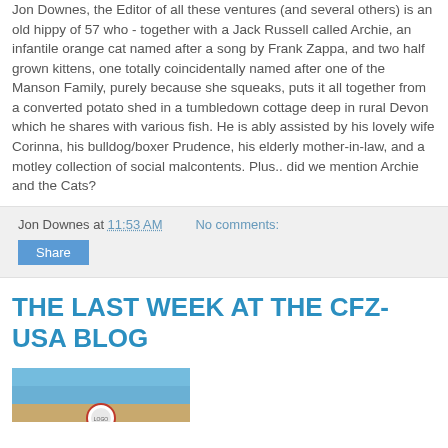Jon Downes, the Editor of all these ventures (and several others) is an old hippy of 57 who - together with a Jack Russell called Archie, an infantile orange cat named after a song by Frank Zappa, and two half grown kittens, one totally coincidentally named after one of the Manson Family, purely because she squeaks, puts it all together from a converted potato shed in a tumbledown cottage deep in rural Devon which he shares with various fish. He is ably assisted by his lovely wife Corinna, his bulldog/boxer Prudence, his elderly mother-in-law, and a motley collection of social malcontents. Plus.. did we mention Archie and the Cats?
Jon Downes at 11:53 AM   No comments:
Share
THE LAST WEEK AT THE CFZ-USA BLOG
[Figure (photo): Partial view of a photograph showing a desert/outdoor scene with blue sky and what appears to be a circular logo/badge at the bottom center]